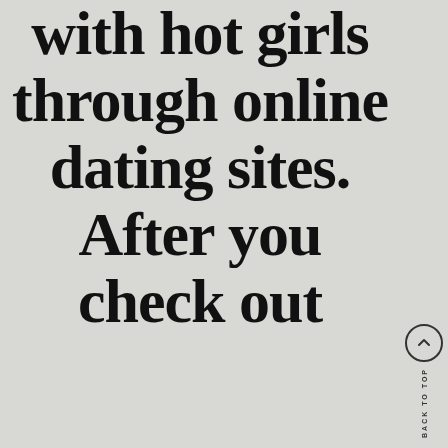with hot girls through online dating sites. After you check out
[Figure (other): Back to top navigation button: a circle with an upward chevron arrow, with vertical text reading BACK TO TOP beside it]